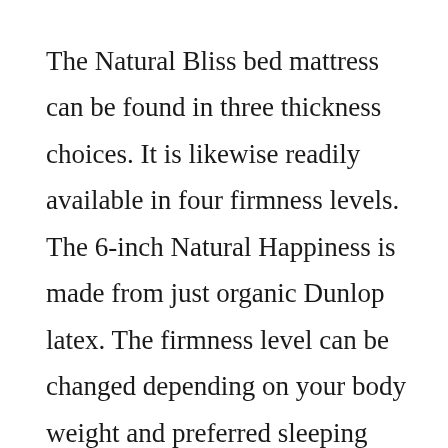The Natural Bliss bed mattress can be found in three thickness choices. It is likewise readily available in four firmness levels. The 6-inch Natural Happiness is made from just organic Dunlop latex. The firmness level can be changed depending on your body weight and preferred sleeping position. It comes in three different firmness levels, and can likewise be gotten used to fit your preferences. Picking the right firmness level is important as it will determine how comfortable you will be on your bed mattress.